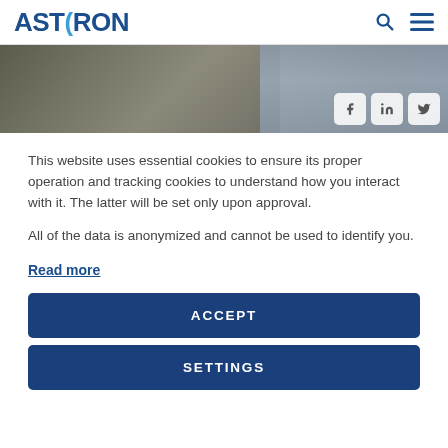ASTRON
[Figure (photo): Screenshot of ASTRON website header with a photo of a person in a lab setting, and social media icons (Facebook, LinkedIn, Twitter) overlaid on the right side]
This website uses essential cookies to ensure its proper operation and tracking cookies to understand how you interact with it. The latter will be set only upon approval.

All of the data is anonymized and cannot be used to identify you.
Read more
ACCEPT
SETTINGS